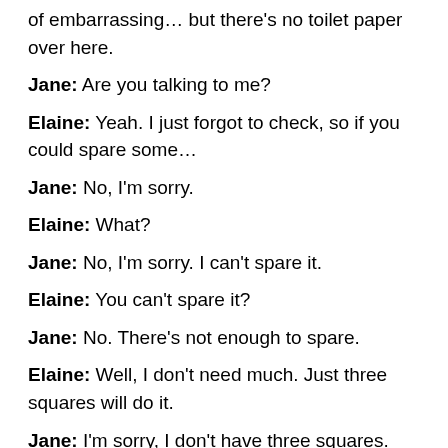of embarrassing… but there's no toilet paper over here.
Jane: Are you talking to me?
Elaine: Yeah. I just forgot to check, so if you could spare some…
Jane: No, I'm sorry.
Elaine: What?
Jane: No, I'm sorry. I can't spare it.
Elaine: You can't spare it?
Jane: No. There's not enough to spare.
Elaine: Well, I don't need much. Just three squares will do it.
Jane: I'm sorry, I don't have three squares. Now, if you don't mind…